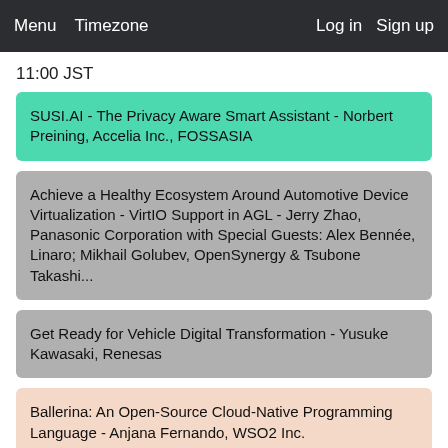Menu  Timezone  Log in  Sign up
11:00 JST
SUSI.AI - The Privacy Aware Smart Assistant - Norbert Preining, Accelia Inc., FOSSASIA
Achieve a Healthy Ecosystem Around Automotive Device Virtualization - VirtIO Support in AGL - Jerry Zhao, Panasonic Corporation with Special Guests: Alex Bennée, Linaro; Mikhail Golubev, OpenSynergy & Tsubone Takashi...
Get Ready for Vehicle Digital Transformation - Yusuke Kawasaki, Renesas
Ballerina: An Open-Source Cloud-Native Programming Language - Anjana Fernando, WSO2 Inc.
Open Source in Safety Critical Applications - Kate Stewart, The Linux Foundation